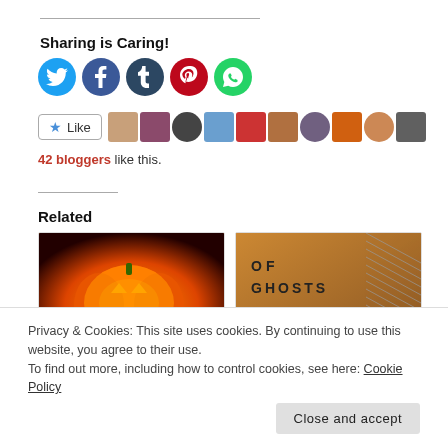Sharing is Caring!
[Figure (infographic): Row of social media share buttons: Twitter (blue circle), Facebook (blue circle), Tumblr (dark blue circle), Pinterest (red circle), WhatsApp (green circle)]
[Figure (infographic): Like button with star icon and a row of blogger avatar thumbnails]
42 bloggers like this.
Related
[Figure (photo): Halloween jack-o'-lantern glowing orange]
[Figure (photo): Book cover: OF GHOSTS A NOVEL with staircase]
Privacy & Cookies: This site uses cookies. By continuing to use this website, you agree to their use.
To find out more, including how to control cookies, see here: Cookie Policy
Close and accept
October 27, 2018
@paulGtremblay